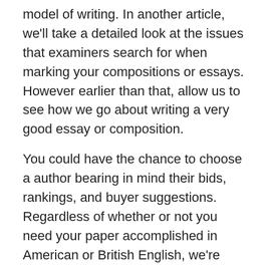model of writing. In another article, we'll take a detailed look at the issues that examiners search for when marking your compositions or essays. However earlier than that, allow us to see how we go about writing a very good essay or composition.
You could have the chance to choose a author bearing in mind their bids, rankings, and buyer suggestions. Regardless of whether or not you need your paper accomplished in American or British English, we're able to assist you in any case. There are writers who're specialized in each of these two methods of writing.
While you spot a trending matter you'll like to explore extra, take your time to focus on your profession in journalism. The Web gives you nice opportunities to unfold the word. You do not have to land your first job at a newspaper to start out creating; publish your stories and you'll increase your chances of getting seen.
Such companies are an ideal. Write my essay” order is. That the custom paper writing duties you assign to. Time